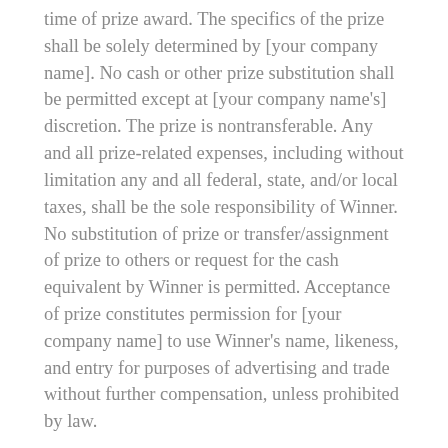time of prize award. The specifics of the prize shall be solely determined by [your company name]. No cash or other prize substitution shall be permitted except at [your company name's] discretion. The prize is nontransferable. Any and all prize-related expenses, including without limitation any and all federal, state, and/or local taxes, shall be the sole responsibility of Winner. No substitution of prize or transfer/assignment of prize to others or request for the cash equivalent by Winner is permitted. Acceptance of prize constitutes permission for [your company name] to use Winner's name, likeness, and entry for purposes of advertising and trade without further compensation, unless prohibited by law.
6. Odds: The odds of winning depend on the number of eligible entries received.
7. Winner Selection and Notification: Winner will be selected by [a random drawing or by community